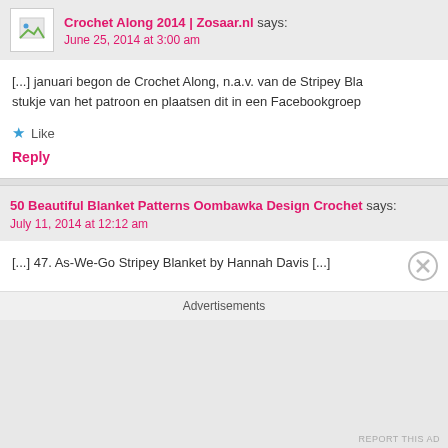Crochet Along 2014 | Zosaar.nl says:
June 25, 2014 at 3:00 am
[...] januari begon de Crochet Along, n.a.v. van de Stripey Bla... stukje van het patroon en plaatsen dit in een Facebookgroep
Like
Reply
50 Beautiful Blanket Patterns Oombawka Design Crochet says:
July 11, 2014 at 12:12 am
[...] 47. As-We-Go Stripey Blanket by Hannah Davis [...]
Advertisements